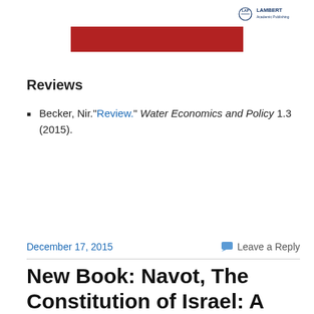[Figure (logo): Lambert Academic Publishing logo in top right corner]
[Figure (other): Red horizontal bar centered below the logo]
Reviews
Becker, Nir."Review." Water Economics and Policy 1.3 (2015).
December 17, 2015
Leave a Reply
New Book: Navot, The Constitution of Israel: A